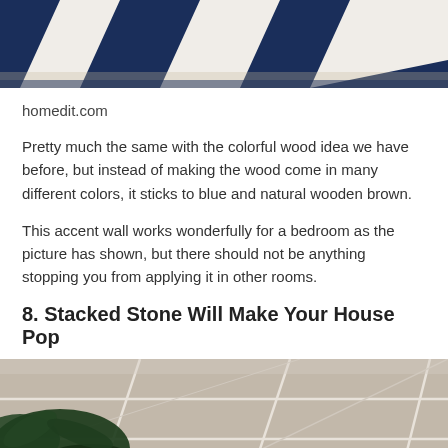[Figure (photo): Top portion of a room showing a navy blue and white geometric patterned rug on a light wooden floor, cropped at the top of the page.]
homedit.com
Pretty much the same with the colorful wood idea we have before, but instead of making the wood come in many different colors, it sticks to blue and natural wooden brown.
This accent wall works wonderfully for a bedroom as the picture has shown, but there should not be anything stopping you from applying it in other rooms.
8. Stacked Stone Will Make Your House Pop
[Figure (photo): Bottom portion of the page showing a room with large light-grey square tiles on the wall/floor, a green plant in the lower left corner, and a light source creating a glare.]